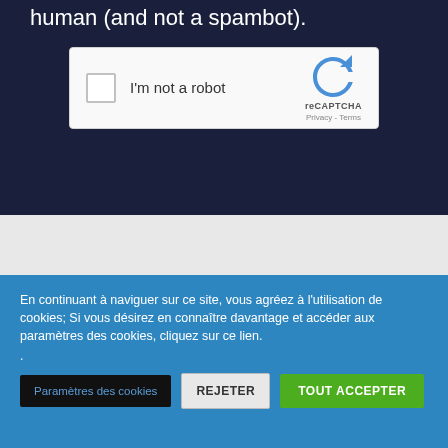human (and not a spambot).
[Figure (screenshot): reCAPTCHA widget with checkbox labeled 'I'm not a robot' and Google reCAPTCHA logo with Privacy and Terms links]
En continuant à naviguer sur ce site, vous agréez à l'utilisation de cookies; Si vous désirez en connaître davantage et accéder aux paramètres des cookies, cliquez sur ce lien.
.
Paramètres des cookies
REJETER
TOUT ACCEPTER